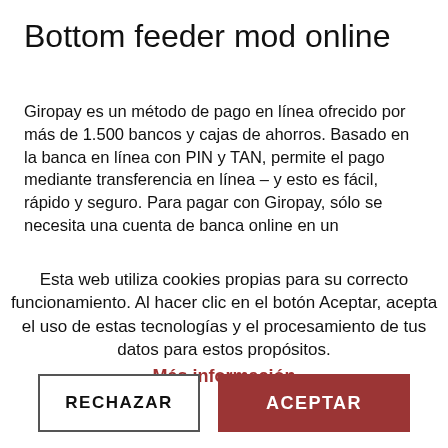Bottom feeder mod online
Giropay es un método de pago en línea ofrecido por más de 1.500 bancos y cajas de ahorros. Basado en la banca en línea con PIN y TAN, permite el pago mediante transferencia en línea – y esto es fácil, rápido y seguro. Para pagar con Giropay, sólo se necesita una cuenta de banca online en un
Esta web utiliza cookies propias para su correcto funcionamiento. Al hacer clic en el botón Aceptar, acepta el uso de estas tecnologías y el procesamiento de tus datos para estos propósitos.
Más información
RECHAZAR
ACEPTAR